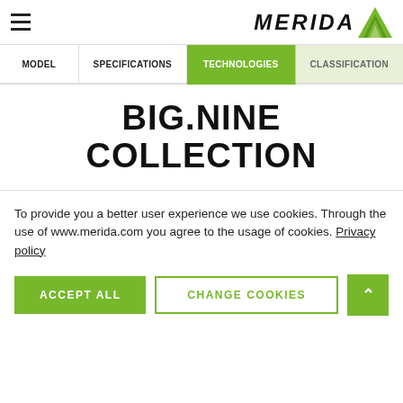[Figure (logo): Merida logo with stylized italic bold text 'MERIDA' and a green mountain triangle icon]
MODEL | SPECIFICATIONS | TECHNOLOGIES | CLASSIFICATION
BIG.NINE COLLECTION
To provide you a better user experience we use cookies. Through the use of www.merida.com you agree to the usage of cookies. Privacy policy
ACCEPT ALL | CHANGE COOKIES